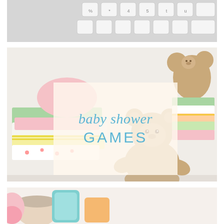[Figure (photo): Top strip showing a white computer keyboard close-up]
[Figure (photo): Baby shower themed photo showing stacked colorful baby clothes, a stuffed teddy bear, and baby items on a white background, with a semi-transparent overlay box containing the text 'baby shower GAMES']
baby shower GAMES
[Figure (photo): Bottom strip showing colorful baby items partially visible]